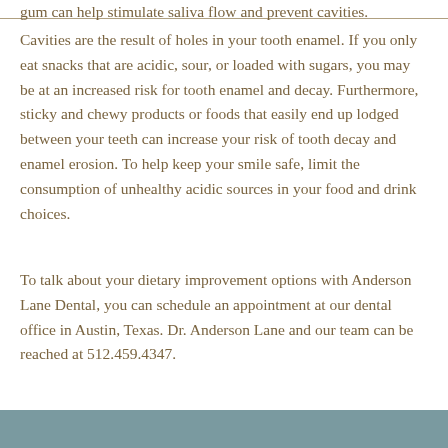gum can help stimulate saliva flow and prevent cavities.
Cavities are the result of holes in your tooth enamel. If you only eat snacks that are acidic, sour, or loaded with sugars, you may be at an increased risk for tooth enamel and decay. Furthermore, sticky and chewy products or foods that easily end up lodged between your teeth can increase your risk of tooth decay and enamel erosion. To help keep your smile safe, limit the consumption of unhealthy acidic sources in your food and drink choices.
To talk about your dietary improvement options with Anderson Lane Dental, you can schedule an appointment at our dental office in Austin, Texas. Dr. Anderson Lane and our team can be reached at 512.459.4347.